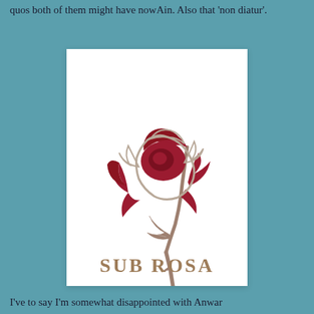quos both of them might have nowAin. Also that 'non diatur'.
[Figure (logo): Sub Rosa logo: a stylized red and white rose with a grey-brown stem and leaf, above the bold serif text 'SUB ROSA' in brown/tan color on a white background.]
I've to say I'm somewhat disappointed with Anwar